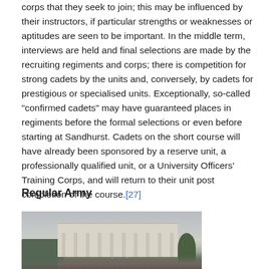corps that they seek to join; this may be influenced by their instructors, if particular strengths or weaknesses or aptitudes are seen to be important. In the middle term, interviews are held and final selections are made by the recruiting regiments and corps; there is competition for strong cadets by the units and, conversely, by cadets for prestigious or specialised units. Exceptionally, so-called "confirmed cadets" may have guaranteed places in regiments before the formal selections or even before starting at Sandhurst. Cadets on the short course will have already been sponsored by a reserve unit, a professionally qualified unit, or a University Officers' Training Corps, and will return to their unit post completion of the course.[27]
Regular Army
[Figure (photo): Photograph of a large neoclassical building (likely the Royal Military Academy Sandhurst) with columns, flagpoles, a military truck on the left, trees on the right, and a crowd of people in the foreground.]